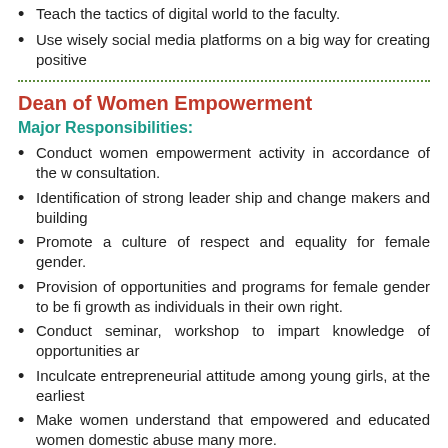Teach the tactics of digital world to the faculty.
Use wisely social media platforms on a big way for creating positive
Dean of Women Empowerment
Major Responsibilities:
Conduct women empowerment activity in accordance of the w consultation.
Identification of strong leader ship and change makers and building
Promote a culture of respect and equality for female gender.
Provision of opportunities and programs for female gender to be fi growth as individuals in their own right.
Conduct seminar, workshop to impart knowledge of opportunities ar
Inculcate entrepreneurial attitude among young girls, at the earliest
Make women understand that empowered and educated women domestic abuse many more.
Imbibe the idea that child marriage, dowry killings, discrimination, f empowerment.
Promote a culture of respect and equality for female gender.
Educate girl students on women specific health issues and measure
Dean of Green and Smart Campus